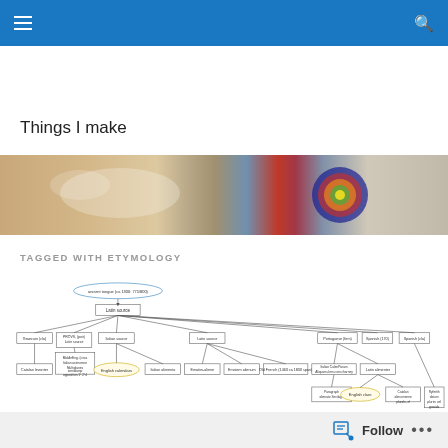Navigation bar with hamburger menu and search icon
Things I make
[Figure (photo): A blurred close-up photo showing colorful craft or art work with beads and metallic surface reflections]
TAGGED WITH ETYMOLOGY
[Figure (flowchart): An etymology flowchart showing word derivations from Latin through various languages including English, Italian, French, and Catalan. The chart has boxes connected by arrows showing linguistic relationships.]
Follow